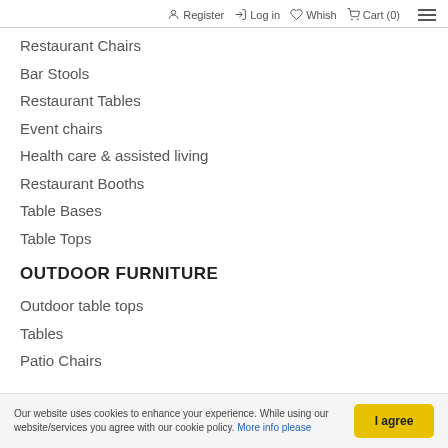Register  Log in  Whish  Cart (0)
Restaurant Chairs
Bar Stools
Restaurant Tables
Event chairs
Health care & assisted living
Restaurant Booths
Table Bases
Table Tops
OUTDOOR FURNITURE
Outdoor table tops
Tables
Patio Chairs
Our website uses cookies to enhance your experience. While using our website/services you agree with our cookie policy. More info please  I agree